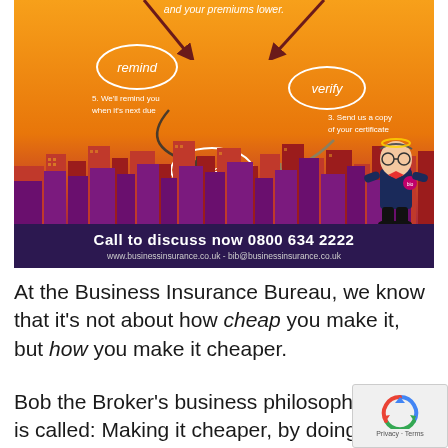[Figure (infographic): Business Insurance Bureau infographic showing a circular process with steps: remind (5. We'll remind you when it's next due), verify (3. Send us a copy of your certificate), reward (4. Reward yourself with a rebate from us). Orange gradient background with stylized city skyline. Bottom bar: 'Call to discuss now 0800 634 2222', www.businessinsurance.co.uk - bib@businessinsurance.co.uk. Cartoon character 'Bob the Broker' on right side.]
At the Business Insurance Bureau, we know that it's not about how cheap you make it, but how you make it cheaper.
Bob the Broker's business philosophy is called: Making it cheaper, by doing it right™